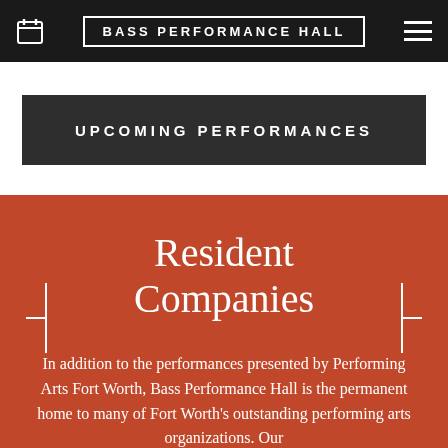BASS PERFORMANCE HALL
UPCOMING PERFORMANCES
Resident Companies
In addition to the performances presented by Performing Arts Fort Worth, Bass Performance Hall is the permanent home to many of Fort Worth's outstanding performing arts organizations. Our